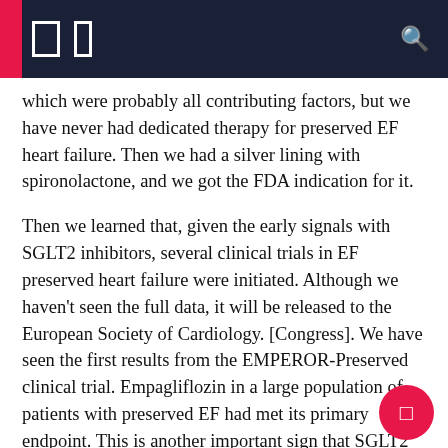which were probably all contributing factors, but we have never had dedicated therapy for preserved EF heart failure. Then we had a silver lining with spironolactone, and we got the FDA indication for it.
Then we learned that, given the early signals with SGLT2 inhibitors, several clinical trials in EF preserved heart failure were initiated. Although we haven't seen the full data, it will be released to the European Society of Cardiology. [Congress]. We have seen the first results from the EMPEROR-Preserved clinical trial. Empagliflozin in a large population of patients with preserved EF had met its primary endpoint. This is another important sign that SGLT2 inhibitors may also have important effects and benefits for our patients with preserved EF. As Dr Ganda mentioned earlier, this builds on what we saw in the SOLOIST-WHF program, where there appears to be a benefit in patients regardless of